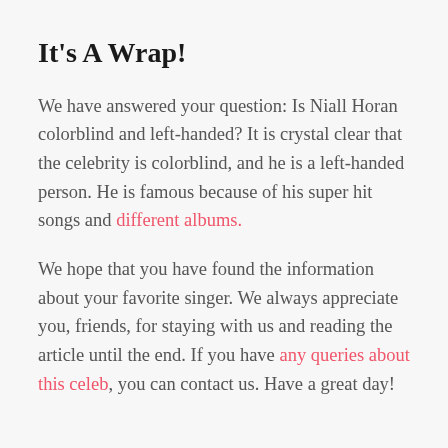It's A Wrap!
We have answered your question: Is Niall Horan colorblind and left-handed? It is crystal clear that the celebrity is colorblind, and he is a left-handed person. He is famous because of his super hit songs and different albums.
We hope that you have found the information about your favorite singer. We always appreciate you, friends, for staying with us and reading the article until the end. If you have any queries about this celeb, you can contact us. Have a great day!